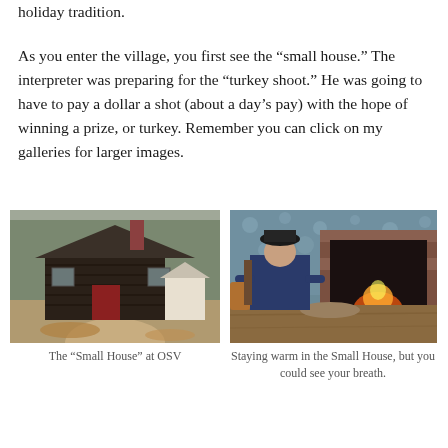holiday tradition.
As you enter the village, you first see the “small house.” The interpreter was preparing for the “turkey shoot.” He was going to have to pay a dollar a shot (about a day’s pay) with the hope of winning a prize, or turkey. Remember you can click on my galleries for larger images.
[Figure (photo): Exterior photo of the Small House at OSV — a dark log cabin with a red door set on a dirt path surrounded by trees and fallen leaves.]
The “Small House” at OSV
[Figure (photo): Interior photo of a person in colonial dress sitting beside a large brick fireplace with an open fire, inside the Small House.]
Staying warm in the Small House, but you could see your breath.